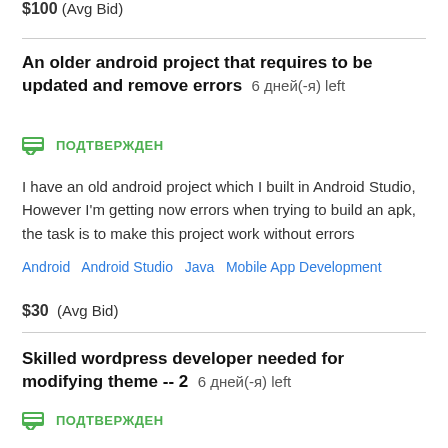$100  (Avg Bid)
An older android project that requires to be updated and remove errors  6 дней(-я) left
ПОДТВЕРЖДЕН
I have an old android project which I built in Android Studio, However I'm getting now errors when trying to build an apk, the task is to make this project work without errors
Android   Android Studio   Java   Mobile App Development
$30  (Avg Bid)
Skilled wordpress developer needed for modifying theme -- 2  6 дней(-я) left
ПОДТВЕРЖДЕН